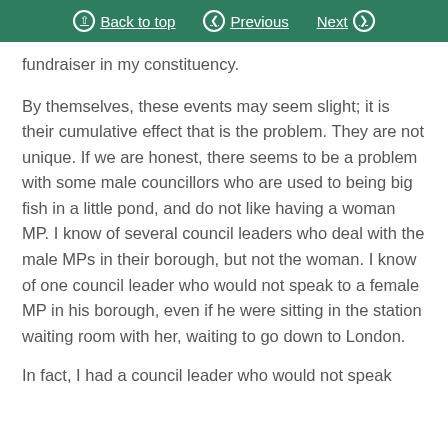Back to top | Previous | Next
fundraiser in my constituency.
By themselves, these events may seem slight; it is their cumulative effect that is the problem. They are not unique. If we are honest, there seems to be a problem with some male councillors who are used to being big fish in a little pond, and do not like having a woman MP. I know of several council leaders who deal with the male MPs in their borough, but not the woman. I know of one council leader who would not speak to a female MP in his borough, even if he were sitting in the station waiting room with her, waiting to go down to London.
In fact, I had a council leader who would not speak